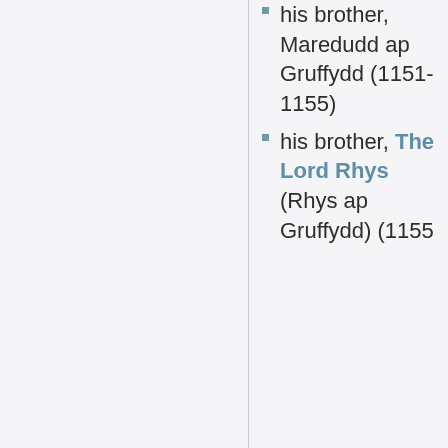his brother, Maredudd ap Gruffydd (1151-1155)
his brother, The Lord Rhys (Rhys ap Gruffydd) (1155-